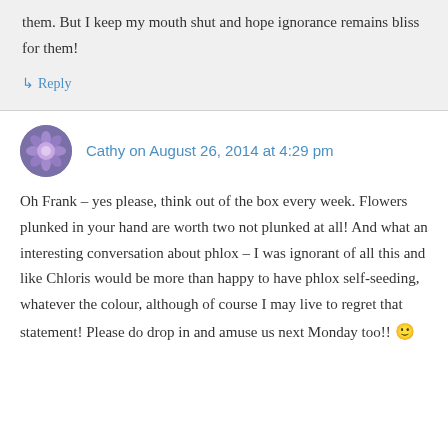them. But I keep my mouth shut and hope ignorance remains bliss for them!
↳ Reply
Cathy on August 26, 2014 at 4:29 pm
Oh Frank – yes please, think out of the box every week. Flowers plunked in your hand are worth two not plunked at all! And what an interesting conversation about phlox – I was ignorant of all this and like Chloris would be more than happy to have phlox self-seeding, whatever the colour, although of course I may live to regret that statement! Please do drop in and amuse us next Monday too!! 🙂